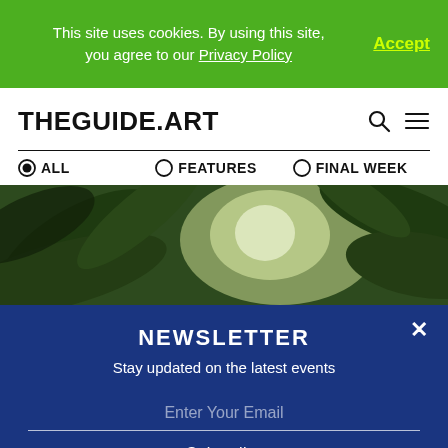This site uses cookies. By using this site, you agree to our Privacy Policy  Accept
THEGUIDE.ART
ALL   FEATURES   FINAL WEEK
[Figure (photo): Close-up of large green tropical leaves with blurred background]
NEWSLETTER
Stay updated on the latest events
Enter Your Email
Subscribe